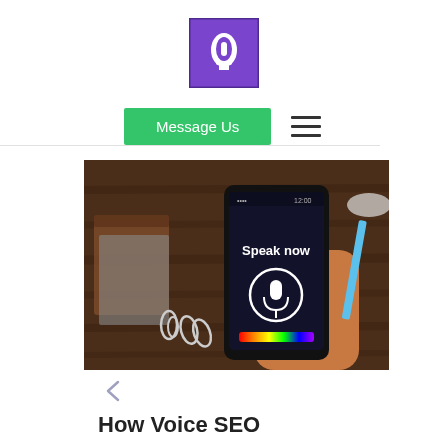[Figure (logo): Purple square logo with white speech bubble or microphone icon inside]
[Figure (other): Green 'Message Us' button and hamburger menu icon navigation row]
[Figure (photo): Photo of a hand holding a smartphone displaying a 'Speak now' voice assistant screen with microphone icon and colorful audio spectrum, placed on a wooden desk with notebooks and paper clips]
How Voice SEO